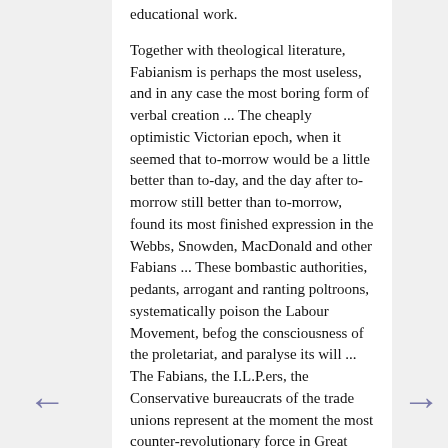educational work.

Together with theological literature, Fabianism is perhaps the most useless, and in any case the most boring form of verbal creation ... The cheaply optimistic Victorian epoch, when it seemed that to-morrow would be a little better than to-day, and the day after to-morrow still better than to-morrow, found its most finished expression in the Webbs, Snowden, MacDonald and other Fabians ... These bombastic authorities, pedants, arrogant and ranting poltroons, systematically poison the Labour Movement, befog the consciousness of the proletariat, and paralyse its will ... The Fabians, the I.L.P.ers, the Conservative bureaucrats of the trade unions represent at the moment the most counter-revolutionary force in Great Britain, and perhaps of all the world's development ... Fabianism, MacDonaldism, Pacifism, is the chief rallying-point of British imperialism and of the European, if not the world, bourgeoisie. At any cost, these self-satisfied pedants, these gabbling